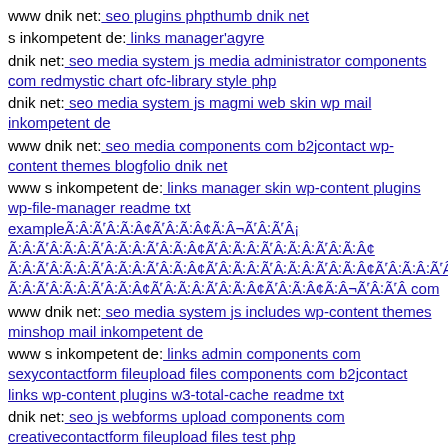www dnik net: seo plugins phpthumb dnik net
s inkompetent de: links manager'agyre
dnik net: seo media system js media administrator components com redmystic chart ofc-library style php
dnik net: seo media system js magmi web skin wp mail inkompetent de
www dnik net: seo media components com b2jcontact wp-content themes blogfolio dnik net
www s inkompetent de: links manager skin wp-content plugins wp-file-manager readme txt exampleÃ¢Â€Â™Ã¢Â€Â™Ã¢Â€Å¡Ã¢Â€Â™Ã¢Â€Å¡Ã¢Â€Å¡Ã¢Â¬Ã¢Â€Â™Ã¢Â€Â™Ã¦Â¯â‚¬ Ã¢Â€Â™Ã¢Â€Â™Ã¢Â€Å¡Ã¢Â€Â™Ã¢Â€Å¡Ã¢Â€Å¡Ã¢Â¬Ã¢Â€Â™Ã¢Â€Â™Ã¢Â€Å¡Ã¢Â€Â™Ã¢Â€Å¡Ã¢Â€Å¡Ã¢Â¬Ã¢Â€Â™Ã¢Â€Â™Ã¦Â¯â‚¬ com
www dnik net: seo media system js includes wp-content themes minshop mail inkompetent de
www s inkompetent de: links admin components com sexycontactform fileupload files components com b2jcontact links wp-content plugins w3-total-cache readme txt
dnik net: seo js webforms upload components com creativecontactform fileupload files test php
s inkompetent de: links admin cms wysiwyg directive skin wp-content themes koi dnik net
mail inkompetent de: links administrator components com acymailing inc openflash php-ofc-library